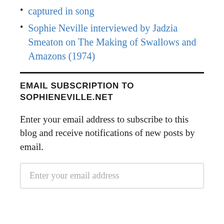captured in song
Sophie Neville interviewed by Jadzia Smeaton on The Making of Swallows and Amazons (1974)
EMAIL SUBSCRIPTION TO SOPHIENEVILLE.NET
Enter your email address to subscribe to this blog and receive notifications of new posts by email.
Enter your email address